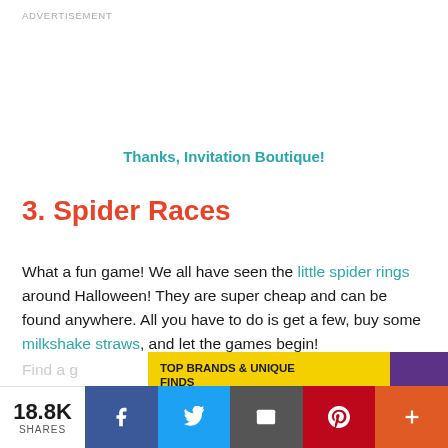ADVERTISEMENT
Thanks, Invitation Boutique!
3. Spider Races
What a fun game! We all have seen the little spider rings around Halloween! They are super cheap and can be found anywhere. All you have to do is get a few, buy some milkshake straws, and let the games begin!
Find a g... n have the fas...
[Figure (other): Advertisement banner for Zulily: TOP BRANDS & UNIQUE FINDS, Daily deals up to 70% off]
18.8K SHARES